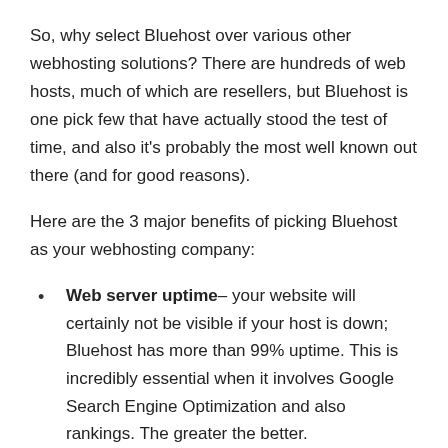So, why select Bluehost over various other webhosting solutions? There are hundreds of web hosts, much of which are resellers, but Bluehost is one pick few that have actually stood the test of time, and also it's probably the most well known out there (and for good reasons).
Here are the 3 major benefits of picking Bluehost as your webhosting company:
Web server uptime– your website will certainly not be visible if your host is down; Bluehost has more than 99% uptime. This is incredibly essential when it involves Google Search Engine Optimization and also rankings. The greater the better.
Bluehost speed– how your web server feedback identifies just how rapid your site shows on a browser; Bluehost is lighting quickly, which indicates you will certainly decrease your bounce rate. Albeit not the most